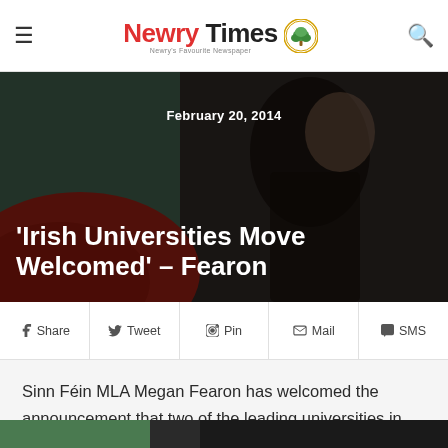Newry Times
[Figure (photo): Woman speaking at a podium, dark background with red and green elements, hero image for article about Irish Universities]
February 20, 2014
'Irish Universities Move Welcomed' – Fearon
Share  Tweet  Pin  Mail  SMS
Sinn Féin MLA Megan Fearon has welcomed the announcement that two of the leading universities in the South are to review the criteria for entrance for students from the North.